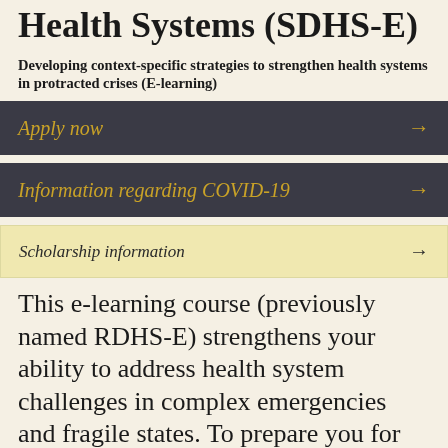Health Systems (SDHS-E)
Developing context-specific strategies to strengthen health systems in protracted crises (E-learning)
Apply now →
Information regarding COVID-19 →
Scholarship information →
This e-learning course (previously named RDHS-E) strengthens your ability to address health system challenges in complex emergencies and fragile states. To prepare you for improving these